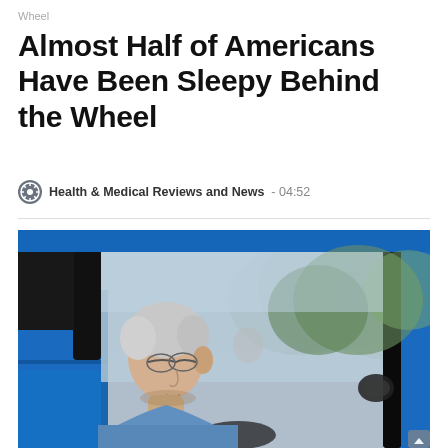Wheel
Almost Half of Americans Have Been Sleepy Behind the Wheel
Health & Medical Reviews and News  -  04:52
[Figure (photo): Elderly man with white hair and glasses sitting in driver seat of a blue car, viewed from outside through the open window, looking forward while driving.]